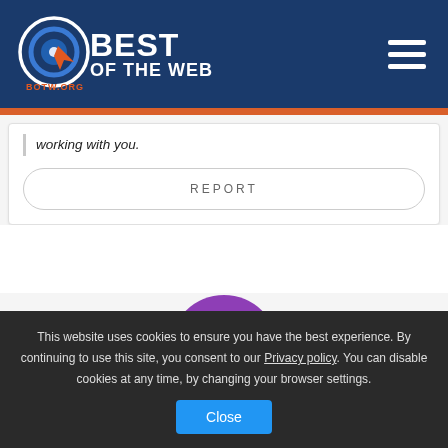[Figure (logo): Best of the Web logo — BOTW.ORG with circular target icon and orange arrow cursor on dark blue background, hamburger menu icon on right]
working with you.
REPORT
[Figure (illustration): Purple circle avatar with white letter T, partially visible at bottom of page]
This website uses cookies to ensure you have the best experience. By continuing to use this site, you consent to our Privacy policy. You can disable cookies at any time, by changing your browser settings.
Close